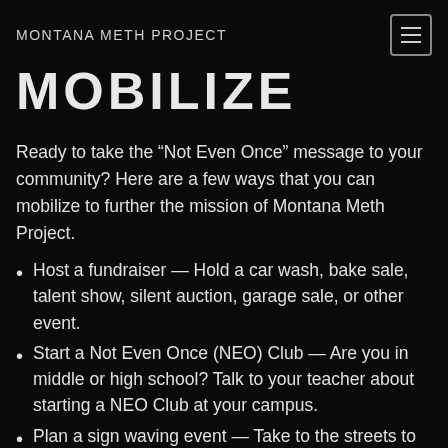MONTANA METH PROJECT
MOBILIZE
Ready to take the “Not Even Once” message to your community? Here are a few ways that you can mobilize to further the mission of Montana Meth Project.
Host a fundraiser — Hold a car wash, bake sale, talent show, silent auction, garage sale, or other event.
Start a Not Even Once (NEO) Club — Are you in middle or high school? Talk to your teacher about starting a NEO Club at your campus.
Plan a sign waving event — Take to the streets to spread the the “Not Even Once” message by sign